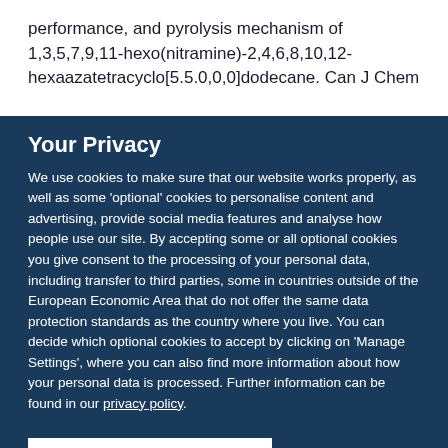performance, and pyrolysis mechanism of 1,3,5,7,9,11-hexo(nitramine)-2,4,6,8,10,12-hexaazatetracyclo[5.5.0,0,0]dodecane. Can J Chem
Your Privacy
We use cookies to make sure that our website works properly, as well as some 'optional' cookies to personalise content and advertising, provide social media features and analyse how people use our site. By accepting some or all optional cookies you give consent to the processing of your personal data, including transfer to third parties, some in countries outside of the European Economic Area that do not offer the same data protection standards as the country where you live. You can decide which optional cookies to accept by clicking on 'Manage Settings', where you can also find more information about how your personal data is processed. Further information can be found in our privacy policy.